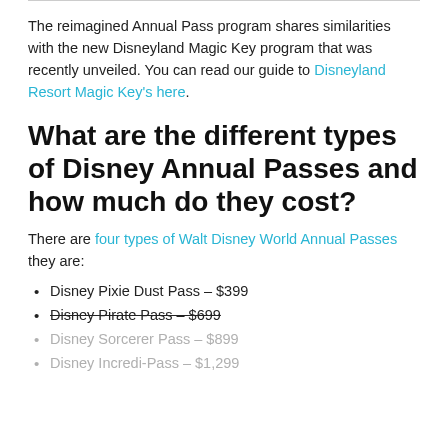The reimagined Annual Pass program shares similarities with the new Disneyland Magic Key program that was recently unveiled. You can read our guide to Disneyland Resort Magic Key's here.
What are the different types of Disney Annual Passes and how much do they cost?
There are four types of Walt Disney World Annual Passes they are:
Disney Pixie Dust Pass – $399
Disney Pirate Pass – $699
Disney Sorcerer Pass – $899
Disney Incredi-Pass – $1,299